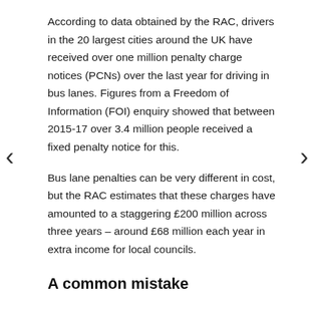According to data obtained by the RAC, drivers in the 20 largest cities around the UK have received over one million penalty charge notices (PCNs) over the last year for driving in bus lanes. Figures from a Freedom of Information (FOI) enquiry showed that between 2015-17 over 3.4 million people received a fixed penalty notice for this.
Bus lane penalties can be very different in cost, but the RAC estimates that these charges have amounted to a staggering £200 million across three years – around £68 million each year in extra income for local councils.
A common mistake